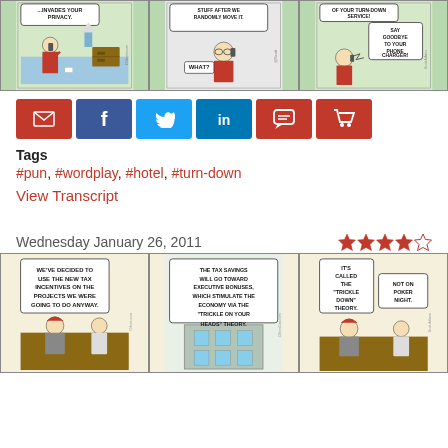[Figure (illustration): Dilbert comic strip with three panels - privacy, randomly moving stuff, turn-down service/phone charger]
[Figure (infographic): Social sharing buttons: email, facebook, twitter, linkedin, comment, cart]
Tags
#pun, #wordplay, #hotel, #turn-down
View Transcript
Wednesday January 26, 2011
[Figure (infographic): 4 out of 5 star rating]
[Figure (illustration): Dilbert comic strip with three panels - tax incentives, tax savings executive bonuses trickle on your heads theory, trickle down theory not on poker night]